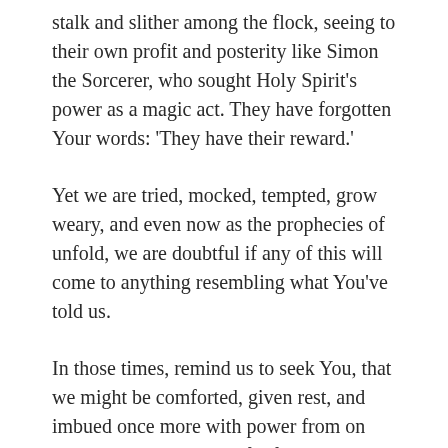stalk and slither among the flock, seeing to their own profit and posterity like Simon the Sorcerer, who sought Holy Spirit's power as a magic act. They have forgotten Your words: 'They have their reward.'
Yet we are tried, mocked, tempted, grow weary, and even now as the prophecies of unfold, we are doubtful if any of this will come to anything resembling what You've told us.
In those times, remind us to seek You, that we might be comforted, given rest, and imbued once more with power from on high; let us seek times of refreshing, and let our peace return to us.
Bring to mind the Psalms and Proverbs of Your two